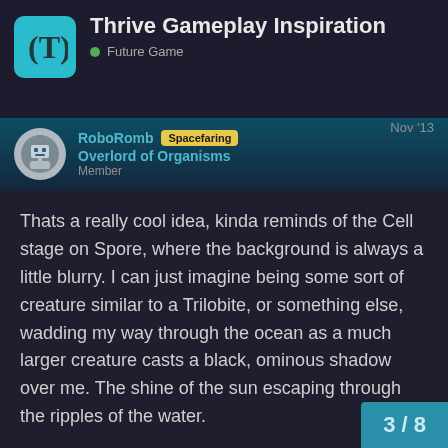Thrive Gameplay Inspiration • Future Game
RoboRomb Spacefaring Overlord of Organisms Member Nov '13
Thats a really cool idea, kinda reminds of the Cell stage on Spore, where the background is always a little blurry. I can just imagine being some sort of creature similar to a Trilobite, or something else, wadding my way through the ocean as a much larger creature casts a black, ominous shadow over me. The shine of the sun escaping through the ripples of the water.
I need to buy this game sometime, where did you get it from?
3 / 8